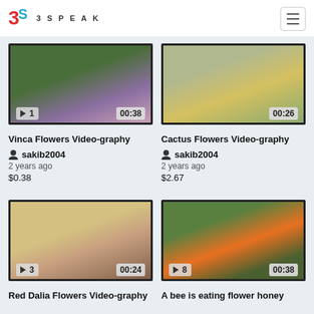3SPEAK
[Figure (screenshot): Vinca Flowers video thumbnail with play button, view count 1, duration 00:38]
Vinca Flowers Video-graphy
sakib2004
2 years ago
$0.38
[Figure (screenshot): Cactus Flowers video thumbnail with duration 00:26]
Cactus Flowers Video-graphy
sakib2004
2 years ago
$2.67
[Figure (screenshot): Red Dalia Flowers video thumbnail with play button, view count 3, duration 00:24]
Red Dalia Flowers Video-graphy
[Figure (screenshot): A bee is eating flower honey video thumbnail with play button, view count 8, duration 00:38]
A bee is eating flower honey